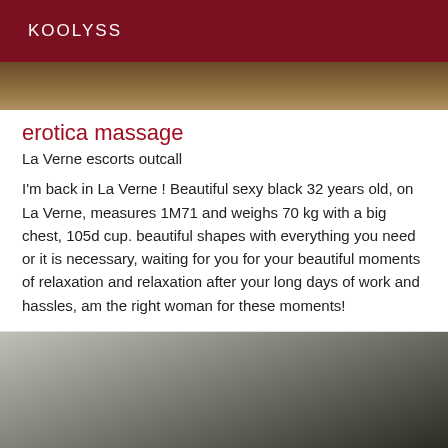KOOLYSS
[Figure (photo): Partial view of a person, cropped image at top of listing]
erotica massage
La Verne escorts outcall
I'm back in La Verne ! Beautiful sexy black 32 years old, on La Verne, measures 1M71 and weighs 70 kg with a big chest, 105d cup. beautiful shapes with everything you need or it is necessary, waiting for you for your beautiful moments of relaxation and relaxation after your long days of work and hassles, am the right woman for these moments!
[Figure (photo): Partial view of a person in a room, cropped image at bottom of listing]